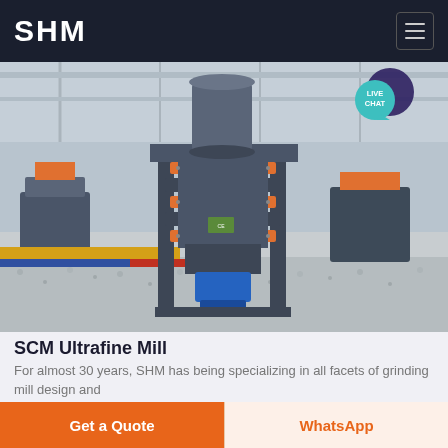SHM
[Figure (photo): Large industrial SCM Ultrafine Mill machine photographed in a factory/warehouse setting with crushed stone aggregate on the floor. The machine is dark grey with orange/red ring components. Live Chat badge visible in top right corner.]
SCM Ultrafine Mill
For almost 30 years, SHM has being specializing in all facets of grinding mill design and
Get a Quote
WhatsApp